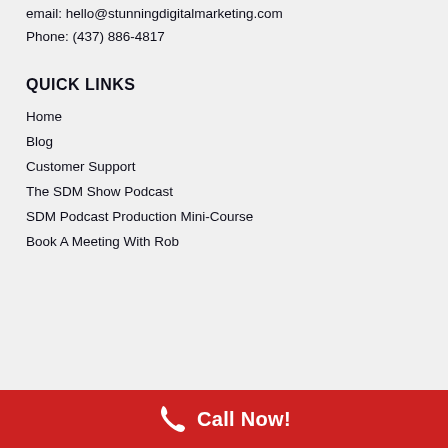email: hello@stunningdigitalmarketing.com
Phone: (437) 886-4817
QUICK LINKS
Home
Blog
Customer Support
The SDM Show Podcast
SDM Podcast Production Mini-Course
Book A Meeting With Rob
Call Now!